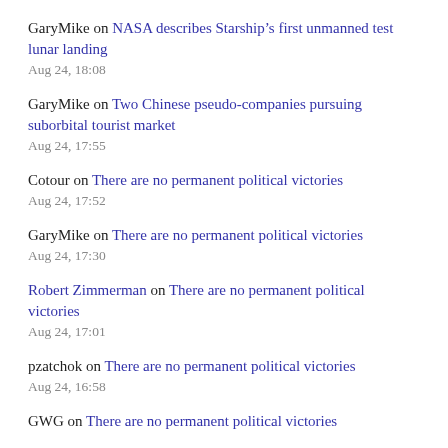GaryMike on NASA describes Starship’s first unmanned test lunar landing
Aug 24, 18:08
GaryMike on Two Chinese pseudo-companies pursuing suborbital tourist market
Aug 24, 17:55
Cotour on There are no permanent political victories
Aug 24, 17:52
GaryMike on There are no permanent political victories
Aug 24, 17:30
Robert Zimmerman on There are no permanent political victories
Aug 24, 17:01
pzatchok on There are no permanent political victories
Aug 24, 16:58
GWG on There are no permanent political victories